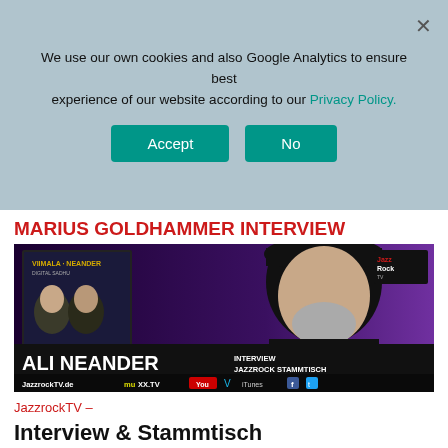We use our own cookies and also Google Analytics to ensure best experience of our website according to our Privacy Policy.
Accept  No
MARIUS GOLDHAMMER Interview
[Figure (screenshot): Video thumbnail showing Ali Neander interview for JazzrockTV Stammtisch, with album cover Viimala-Neander Digital Sadhu in top left, man in black hat on right, text reads: ALI NEANDER INTERVIEW JAZZROCK STAMMTISCH, JazzrockTV.de, muxx.tv, YouTube, Vimeo, iTunes, Facebook, Twitter logos]
JazzrockTV –
Interview & Stammtisch mit ALI NEANDER